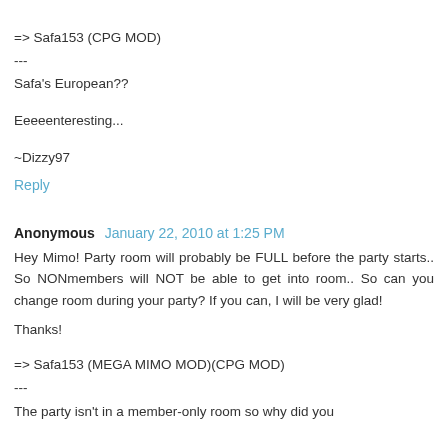=> Safa153 (CPG MOD)
---
Safa's European??
Eeeeenteresting...
~Dizzy97
Reply
Anonymous  January 22, 2010 at 1:25 PM
Hey Mimo! Party room will probably be FULL before the party starts.. So NONmembers will NOT be able to get into room.. So can you change room during your party? If you can, I will be very glad!
Thanks!
=> Safa153 (MEGA MIMO MOD)(CPG MOD)
---
The party isn't in a member-only room so why did you